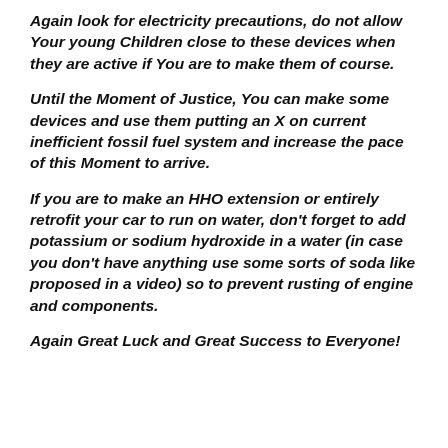Again look for electricity precautions, do not allow Your young Children close to these devices when they are active if You are to make them of course.
Until the Moment of Justice, You can make some devices and use them putting an X on current inefficient fossil fuel system and increase the pace of this Moment to arrive.
If you are to make an HHO extension or entirely retrofit your car to run on water, don't forget to add potassium or sodium hydroxide in a water (in case you don't have anything use some sorts of soda like proposed in a video) so to prevent rusting of engine and components.
Again Great Luck and Great Success to Everyone!